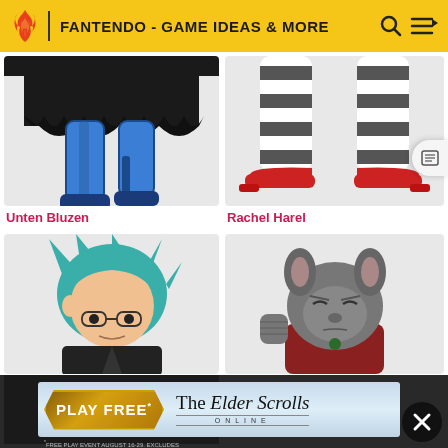FANTENDO - GAME IDEAS & MORE
[Figure (illustration): Unten Bluzen character illustration showing lower body with blue legs and dark clothing]
Unten Bluzen
[Figure (illustration): Rachel Harel character illustration showing striped stockings and red shoes]
Rachel Harel
[Figure (illustration): Character with teal/green hair and glasses, partial view]
[Figure (illustration): Dark grey animal-like character with brown ears, partial view]
[Figure (screenshot): The Elder Scrolls Online advertisement banner with PLAY FREE promotion]